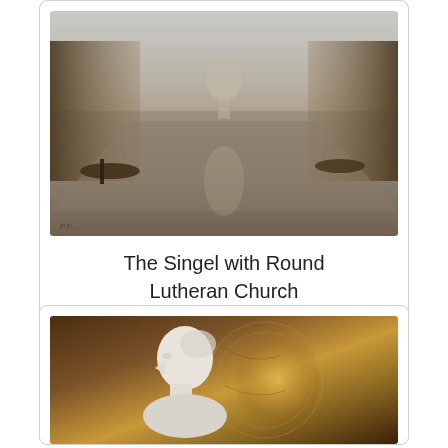[Figure (illustration): Painting of The Singel canal in Amsterdam with the Round Lutheran Church visible in the distance, boats on the water, trees lining both sides, muted brown and grey tones, 1893-95.]
The Singel with Round Lutheran Church
1893-95
[Figure (illustration): Painting featuring a white marble bust of a person in profile (facing left) set against a dark warm brown background with circular golden swirling elements suggesting a globe or map.]